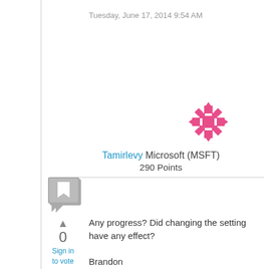Tuesday, June 17, 2014 9:54 AM
[Figure (illustration): Pink/magenta decorative star/snowflake avatar icon for user Tamirlevy]
Tamirlevy Microsoft (MSFT) 290 Points
[Figure (illustration): Gray comment/speech bubble square icon]
0
Sign in to vote
Any progress? Did changing the setting have any effect?

Brandon
MDOP on the Springboard Series on TechNet